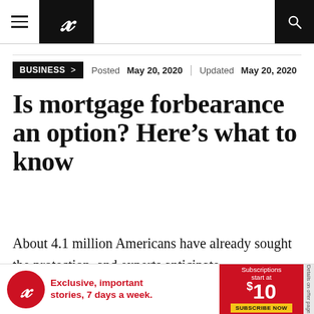P [newspaper logo] — navigation bar with hamburger menu and search
BUSINESS > Posted May 20, 2020 | Updated May 20, 2020
Is mortgage forbearance an option? Here’s what to know
About 4.1 million Americans have already sought the protection, and experts anticipate
[Figure (other): Newspaper advertisement banner: red circle logo with P, text 'Exclusive, important stories, 7 days a week.' with subscription price $10 and Subscribe Now button]